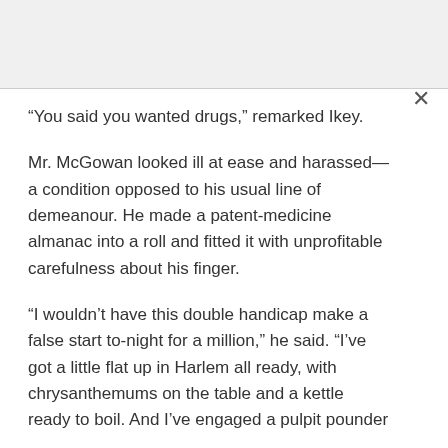“You said you wanted drugs,” remarked Ikey.
Mr. McGowan looked ill at ease and harassed—a condition opposed to his usual line of demeanour. He made a patent-medicine almanac into a roll and fitted it with unprofitable carefulness about his finger.
“I wouldn’t have this double handicap make a false start to-night for a million,” he said. “I’ve got a little flat up in Harlem all ready, with chrysanthemums on the table and a kettle ready to boil. And I’ve engaged a pulpit pounder